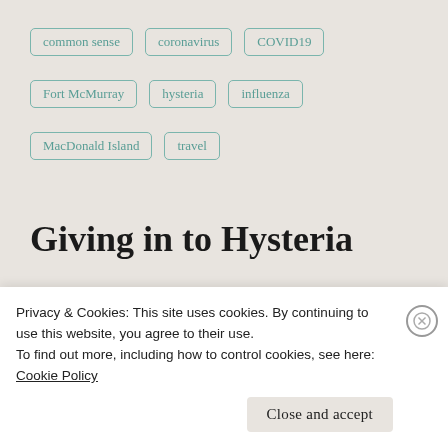common sense
coronavirus
COVID19
Fort McMurray
hysteria
influenza
MacDonald Island
travel
Giving in to Hysteria
[Figure (photo): Black and white image of tree branches against a light background]
Privacy & Cookies: This site uses cookies. By continuing to use this website, you agree to their use.
To find out more, including how to control cookies, see here:
Cookie Policy
Close and accept